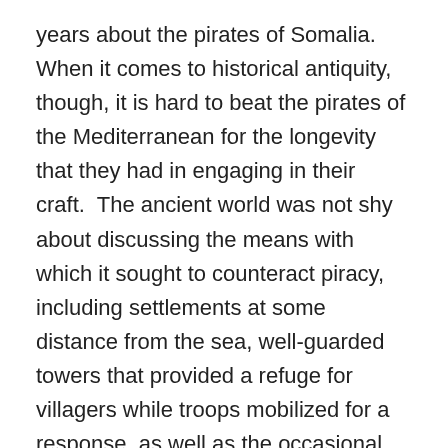years about the pirates of Somalia.  When it comes to historical antiquity, though, it is hard to beat the pirates of the Mediterranean for the longevity that they had in engaging in their craft.  The ancient world was not shy about discussing the means with which it sought to counteract piracy, including settlements at some distance from the sea, well-guarded towers that provided a refuge for villagers while troops mobilized for a response, as well as the occasional naval and army action to destroy the bases of piracy.  The author also demonstrates that frequently pirates were in collaboration with authorities who benefited from their naval expertise as well as their ability to obtain valuable kidnapped slave labor.  Obviously, not everyone was equally happy with the behavior of the pirates, though the problem of a lack of centralized power made it hard to coordinate efforts